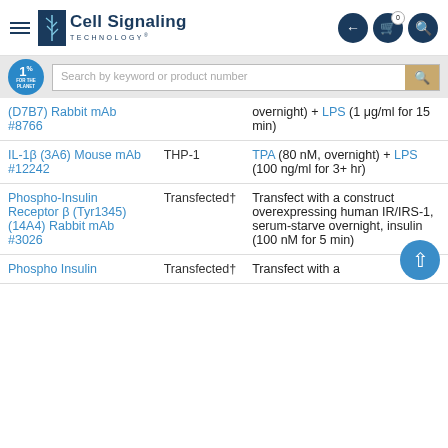Cell Signaling Technology
| Antibody | Cell Line | Treatment |
| --- | --- | --- |
| (D7B7) Rabbit mAb #8766 |  | overnight) + LPS (1 μg/ml for 15 min) |
| IL-1β (3A6) Mouse mAb #12242 | THP-1 | TPA (80 nM, overnight) + LPS (100 ng/ml for 3+ hr) |
| Phospho-Insulin Receptor β (Tyr1345) (14A4) Rabbit mAb #3026 | Transfected† | Transfect with a construct overexpressing human IR/IRS-1, serum-starve overnight, insulin (100 nM for 5 min) |
| Phospho Insulin | Transfected† | Transfect with a |